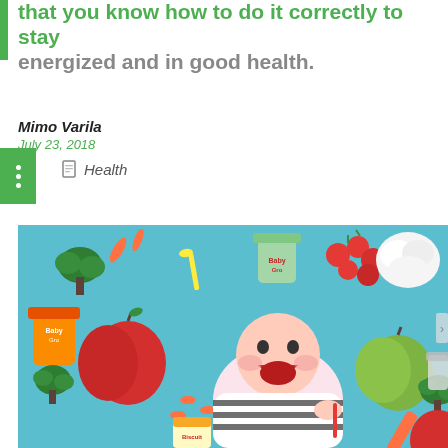that you know how to do it correctly to stay energized and in good health.
Mimo Varila
July 23, 2018
Health
[Figure (photo): A smiling baby lying on a light blue background surrounded by colorful fruits and vegetables including tomatoes, broccoli, carrots, apples (red and green), cauliflower, and jars of baby food. The baby is wearing a striped outfit and holding a red spoon.]